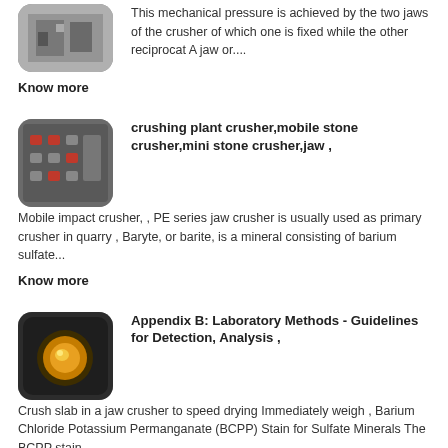[Figure (photo): Partially visible thumbnail of a jaw crusher machine, grey tones]
This mechanical pressure is achieved by the two jaws of the crusher of which one is fixed while the other reciprocat A jaw or....
Know more
[Figure (photo): Thumbnail of a control panel with buttons and switches, dark grey]
crushing plant crusher,mobile stone crusher,mini stone crusher,jaw ,
Mobile impact crusher, , PE series jaw crusher is usually used as primary crusher in quarry , Baryte, or barite, is a mineral consisting of barium sulfate...
Know more
[Figure (photo): Thumbnail showing a round yellow-orange mineral specimen on dark background]
Appendix B: Laboratory Methods - Guidelines for Detection, Analysis ,
Crush slab in a jaw crusher to speed drying Immediately weigh , Barium Chloride Potassium Permanganate (BCPP) Stain for Sulfate Minerals The BCPP stain....
Know more